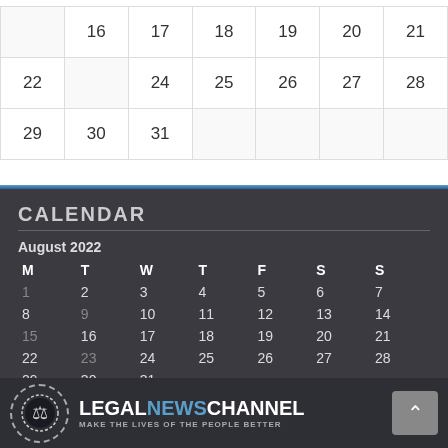|  |  |  |  |  |  |  |
| --- | --- | --- | --- | --- | --- | --- |
|  | 16 | 17 | 18 | 19 | 20 | 21 |
| 22 |  | 24 | 25 | 26 | 27 | 28 |
| 29 | 30 | 31 |  |  |  |  |
CALENDAR
August 2022
| M | T | W | T | F | S | S |
| --- | --- | --- | --- | --- | --- | --- |
| 1 | 2 | 3 | 4 | 5 | 6 | 7 |
| 8 | 9 | 10 | 11 | 12 | 13 | 14 |
| 15 | 16 | 17 | 18 | 19 | 20 | 21 |
| 22 | 23 | 24 | 25 | 26 | 27 | 28 |
| 29 | 30 | 31 |  |  |  |  |
« Jul
[Figure (logo): Legal News Channel logo with scales of justice icon and tagline MAKE THE LIVES OF THE PEOPLE BETTER]